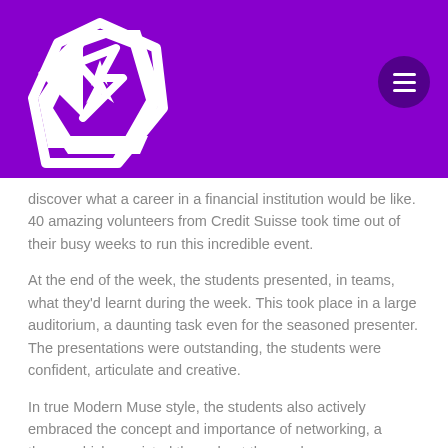[Figure (logo): Modern Muse logo — white geometric hexagon/diamond shape with a star/lightning bolt inside, on purple background]
MODERN
MUSE
discover what a career in a financial institution would be like. 40 amazing volunteers from Credit Suisse took time out of their busy weeks to run this incredible event.
At the end of the week, the students presented, in teams, what they'd learnt during the week. This took place in a large auditorium, a daunting task even for the seasoned presenter. The presentations were outstanding, the students were confident, articulate and creative.
In true Modern Muse style, the students also actively embraced the concept and importance of networking, a theme which persisted throughout the week.
During our session, which we ran with Yasmin a recent